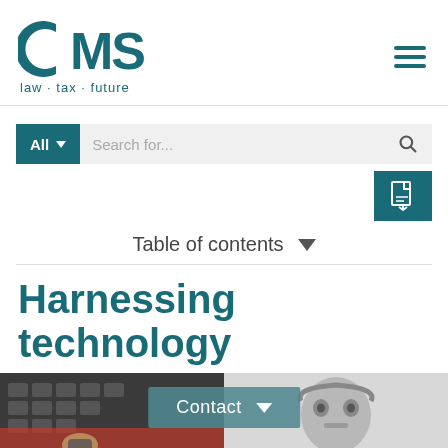[Figure (logo): CMS law·tax·future logo in teal color with a crescent C and bold MS lettering]
[Figure (other): Hamburger menu icon (three horizontal teal bars) in top right corner]
[Figure (other): Search bar with 'All' dropdown button in teal and 'Search for...' placeholder text with magnifying glass icon]
[Figure (other): PDF download button (teal background with document/arrow icon) at right side]
Table of contents
Harnessing technology
[Figure (photo): Two photos side by side: left shows hands typing on keyboard with smartwatch, right shows a robot or technology-related image. A teal 'Contact' button overlay with dropdown arrow is centered over the photos.]